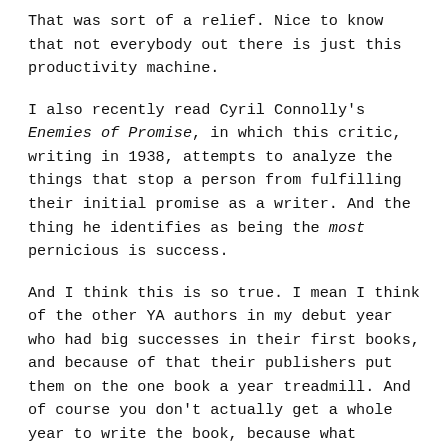That was sort of a relief. Nice to know that not everybody out there is just this productivity machine.
I also recently read Cyril Connolly's Enemies of Promise, in which this critic, writing in 1938, attempts to analyze the things that stop a person from fulfilling their initial promise as a writer. And the thing he identifies as being the most pernicious is success.
And I think this is so true. I mean I think of the other YA authors in my debut year who had big successes in their first books, and because of that their publishers put them on the one book a year treadmill. And of course you don't actually get a whole year to write the book, because what happens is they spend four months deciding on or editing your proposal, and then you get three months in